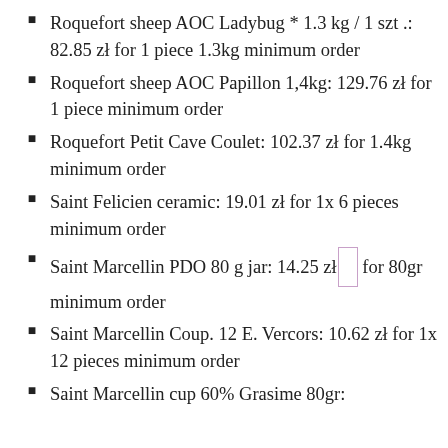Roquefort sheep AOC Ladybug * 1.3 kg / 1 szt .: 82.85 zł for 1 piece 1.3kg minimum order
Roquefort sheep AOC Papillon 1,4kg: 129.76 zł for 1 piece minimum order
Roquefort Petit Cave Coulet: 102.37 zł for 1.4kg minimum order
Saint Felicien ceramic: 19.01 zł for 1x 6 pieces minimum order
Saint Marcellin PDO 80 g jar: 14.25 zł for 80gr minimum order
Saint Marcellin Coup. 12 E. Vercors: 10.62 zł for 1x 12 pieces minimum order
Saint Marcellin cup 60% Grasime 80gr: